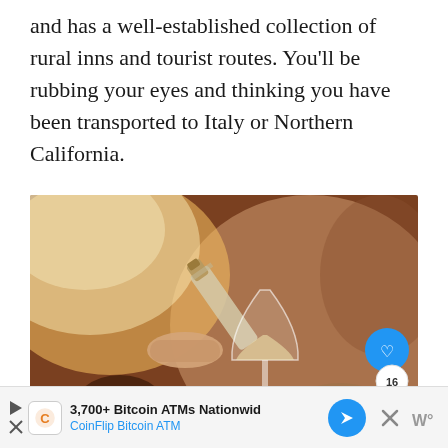and has a well-established collection of rural inns and tourist routes. You'll be rubbing your eyes and thinking you have been transported to Italy or Northern California.
[Figure (photo): A person pouring white wine from a bottle into a wine glass held by another person's hand. Warm golden bokeh background with a sunny, outdoor wine tasting atmosphere.]